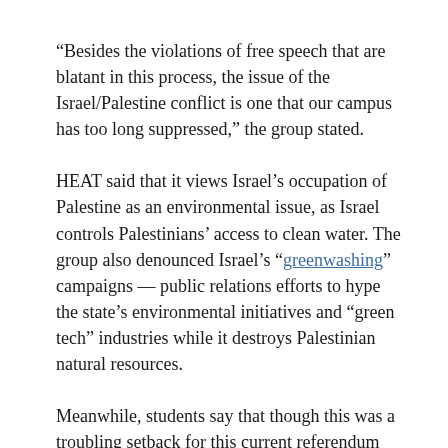“Besides the violations of free speech that are blatant in this process, the issue of the Israel/Palestine conflict is one that our campus has too long suppressed,” the group stated.
HEAT said that it views Israel’s occupation of Palestine as an environmental issue, as Israel controls Palestinians’ access to clean water. The group also denounced Israel’s “greenwashing” campaigns — public relations efforts to hype the state’s environmental initiatives and “green tech” industries while it destroys Palestinian natural resources.
Meanwhile, students say that though this was a troubling setback for this current referendum campaign, Northeastern SJP is not backing down. Perez told The Electronic Intifada that the group will campaign for allies to join the student government in order “to change this process.”
The group is also marking its victories.